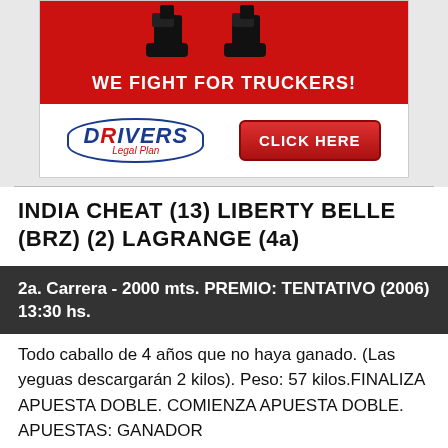[Figure (illustration): Advertisement banner for Drivers Legal Plan. Top section: red background with boots graphic and text 'WE FIGHT FOR TRUCKERS!'. Bottom section: white background with Drivers Legal Plan oval logo and a red 'CLICK HERE' button.]
INDIA CHEAT (13) LIBERTY BELLE (BRZ) (2) LAGRANGE (4a)
2a. Carrera - 2000 mts. PREMIO: TENTATIVO (2006) 13:30 hs.
Todo caballo de 4 años que no haya ganado. (Las yeguas descargarán 2 kilos). Peso: 57 kilos.FINALIZA APUESTA DOBLE. COMIENZA APUESTA DOBLE. APUESTAS: GANADOR